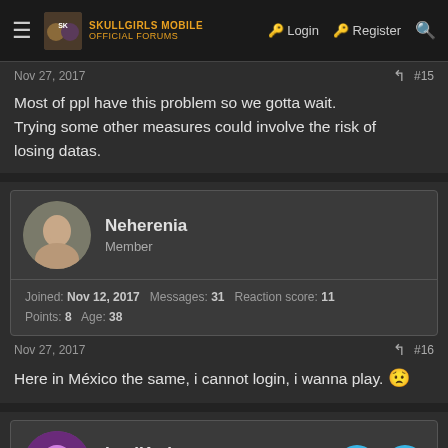Skullgirls Mobile Official Forums | Login | Register
Nov 27, 2017  #15
Most of ppl have this problem so we gotta wait. Trying some other measures could involve the risk of losing datas.
Neherenia
Member
Joined: Nov 12, 2017  Messages: 31  Reaction score: 11
Points: 8  Age: 38
Nov 27, 2017  #16
Here in México the same, i cannot login, i wanna play. 🙁
ImaiKari
Won't Bite  Moderator